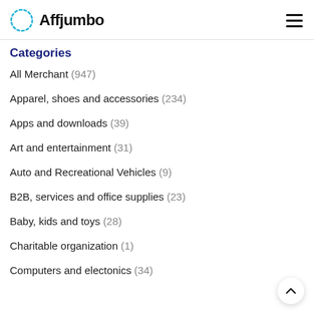Affjumbo
Categories
All Merchant (947)
Apparel, shoes and accessories (234)
Apps and downloads (39)
Art and entertainment (31)
Auto and Recreational Vehicles (9)
B2B, services and office supplies (23)
Baby, kids and toys (28)
Charitable organization (1)
Computers and electonics (34)